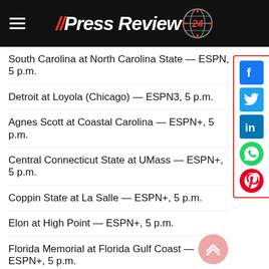// PressReview 24
South Carolina at North Carolina State — ESPN, 5 p.m.
Detroit at Loyola (Chicago) — ESPN3, 5 p.m.
Agnes Scott at Coastal Carolina — ESPN+, 5 p.m.
Central Connecticut State at UMass — ESPN+, 5 p.m.
Coppin State at La Salle — ESPN+, 5 p.m.
Elon at High Point — ESPN+, 5 p.m.
Florida Memorial at Florida Gulf Coast — ESPN+, 5 p.m.
Immaculata at Army — ESPN+, 5 p.m.
Lees-McRae at Appalachian State — ESPN+, 5 p.m.